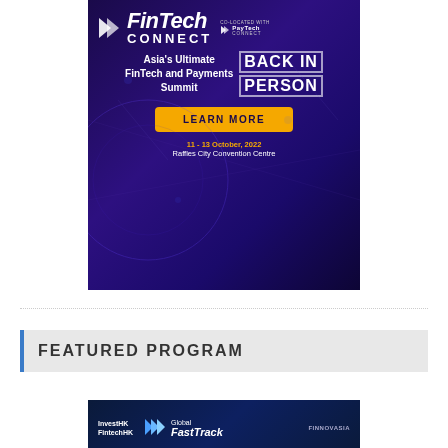[Figure (illustration): FinTech CONNECT conference advertisement banner. Dark purple/blue background with circuit board graphics. Shows FinTech Connect logo co-located with PayTech Connect, tagline 'Asia's Ultimate FinTech and Payments Summit BACK IN PERSON', yellow LEARN MORE button, date '11 - 13 October, 2022' and venue 'Raffles City Convention Centre'.]
FEATURED PROGRAM
[Figure (illustration): Bottom banner for Global FastTrack program, showing InvestHK, FintechHK logos on the left, center triple-arrow logo with 'Global FastTrack' text, and FINNOVASIA on the right. Dark blue background with a glowing blue horizontal line at the bottom.]